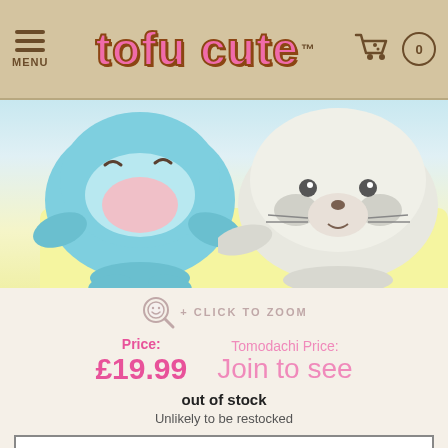tofu cute™ — MENU | Cart 0
[Figure (photo): Two kawaii mochi plush sea animals on a yellow background — a blue seal/whale on the left and a white/grey seal on the right]
+ CLICK TO ZOOM
Price: £19.99   Tomodachi Price: Join to see
out of stock
Unlikely to be restocked
No available options
ADD TO WISHLIST ♥
• Super soft mochi feel sea animals plush measuring approx 14 x 20 x